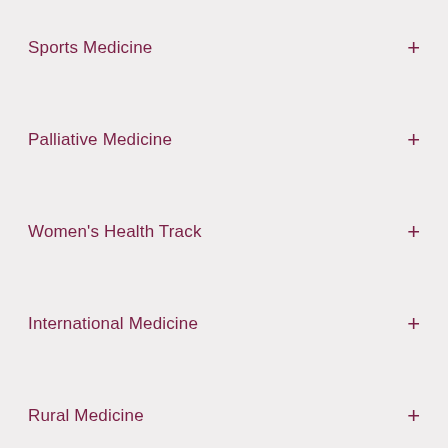Sports Medicine
Palliative Medicine
Women's Health Track
International Medicine
Rural Medicine